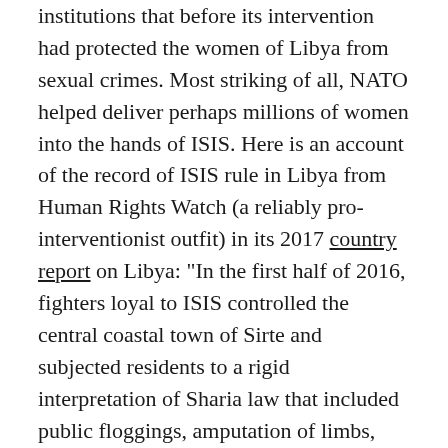institutions that before its intervention had protected the women of Libya from sexual crimes. Most striking of all, NATO helped deliver perhaps millions of women into the hands of ISIS. Here is an account of the record of ISIS rule in Libya from Human Rights Watch (a reliably pro-interventionist outfit) in its 2017 country report on Libya: “In the first half of 2016, fighters loyal to ISIS controlled the central coastal town of Sirte and subjected residents to a rigid interpretation of Sharia law that included public floggings, amputation of limbs, and public lynchings, often leaving the victims’ corpses on display.”
Not to worry: In June 2014, Hague and Jolie co-hosted in London a grand three-day Global Summit to End Sexual Violence. Participants included Secretary of State John Kerry and U.N. Secretary-General Ban Ki-moon